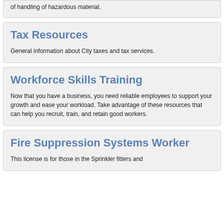of handling of hazardous material.
Tax Resources
General information about City taxes and tax services.
Workforce Skills Training
Now that you have a business, you need reliable employees to support your growth and ease your workload. Take advantage of these resources that can help you recruit, train, and retain good workers.
Fire Suppression Systems Worker
This license is for those in the Sprinkler fitters and